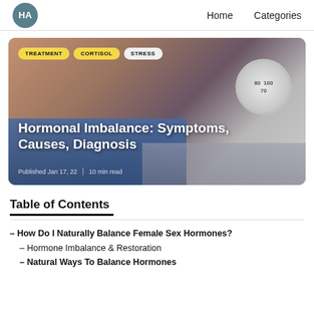HA | Home | Categories
[Figure (photo): Hero image of a person pinching oversized jeans waistband with a weight scale in the background. Tags: TREATMENT, CORTISOL, STRESS. Title: Hormonal Imbalance: Symptoms, Causes, Diagnosis. Published Jan 17, 22 | 10 min read]
Table of Contents
– How Do I Naturally Balance Female Sex Hormones?
– Hormone Imbalance & Restoration
– Natural Ways To Balance Hormones